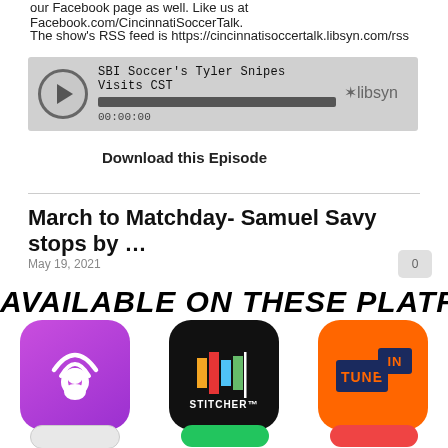our Facebook page as well. Like us at Facebook.com/CincinnatiSoccerTalk.
The show's RSS feed is https://cincinnatisoccertalk.libsyn.com/rss
[Figure (other): Audio player widget showing 'SBI Soccer's Tyler Snipes Visits CST', progress bar at 00:00:00, with libsyn branding]
Download this Episode
March to Matchday- Samuel Savy stops by …
May 19, 2021
AVAILABLE ON THESE PLATFORMS
[Figure (logo): Podcasts App icon - purple with white podcast signal logo]
PODCASTS APP
[Figure (logo): Stitcher icon - black with colored bars and STITCHER text]
STITCHER
[Figure (logo): TuneIn Radio icon - orange with TUNE IN text in navy box]
TUNEIN RADIO